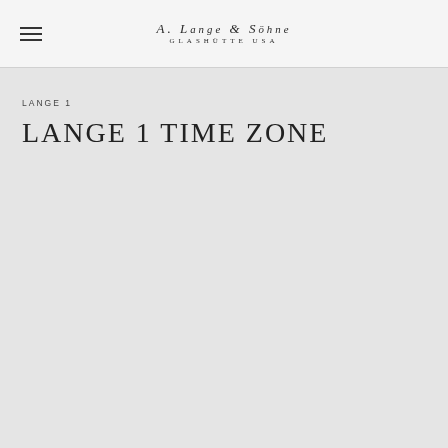A. LANGE & SÖHNE GLASHÜTTE USA
LANGE 1
LANGE 1 TIME ZONE